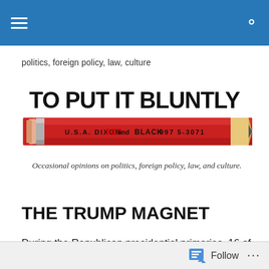Navigation bar with menu and search icons
politics, foreign policy, law, culture
[Figure (illustration): Blog header image for 'To Put It Bluntly' featuring large bold text 'TO PUT IT BLUNTLY' above a red and black Dixon pencil, with italic subtitle 'Occasional opinions on politics, foreign policy, law, and culture.']
THE TRUMP MAGNET
During the Republican presidential primaries, 16 of the 17 candidates differed and bickered but agreed on one thing. They all agreed that Donald Trump was not a true
Follow